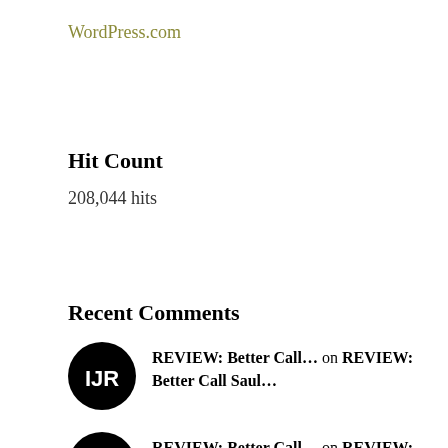WordPress.com
Hit Count
208,044 hits
Recent Comments
REVIEW: Better Call... on REVIEW: Better Call Saul...
REVIEW: Better Call... on REVIEW: Better Call Saul...
REVIEW: Better Call... on REVIEW: Better Call Saul...
REVIEW: Better Call... on REVIEW: Better Call Saul...